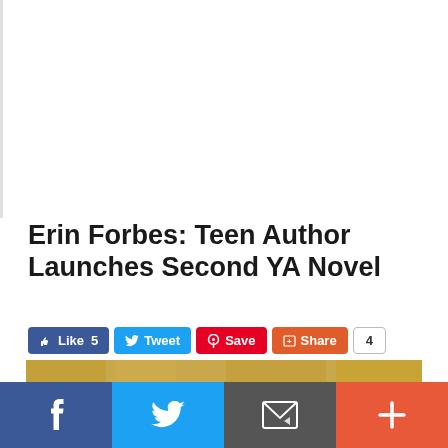[Figure (photo): White advertisement/blank area placeholder at top of page]
Erin Forbes: Teen Author Launches Second YA Novel
[Figure (infographic): Social sharing buttons: Like 5 (Facebook), Tweet (Twitter), Save (Pinterest), Share (Google+), count 4]
[Figure (photo): Photo of a teenage girl with long brown hair against a background of yellow autumn trees]
[Figure (infographic): Bottom social sharing bar with Facebook (f), Twitter (bird), Email (envelope), and More (+) buttons]